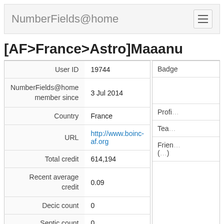NumberFields@home
[AF>France>Astro]Maaanu
| Field | Value |
| --- | --- |
| User ID | 19744 |
| NumberFields@home member since | 3 Jul 2014 |
| Country | France |
| URL | http://www.boinc-af.org |
| Total credit | 614,194 |
| Recent average credit | 0.09 |
| Decic count | 0 |
| Septic count | 0 |
| Q(√−10) count | 0 |